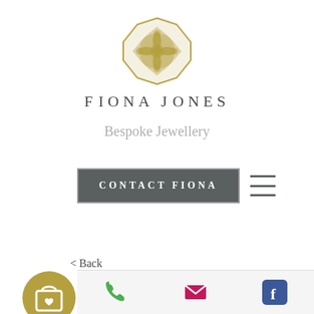[Figure (logo): Fiona Jones ornate octagonal gold logo emblem with floral/scroll design]
FIONA JONES
Bespoke Jewellery
[Figure (other): Dark grey button with white text reading CONTACT FIONA with a border]
[Figure (other): Hamburger menu icon (three horizontal lines)]
< Back
[Figure (other): Gold circle with shopping bag and heart icon]
[Figure (other): Bottom navigation bar with phone icon (green), email icon (pink/red), and Facebook icon (blue)]